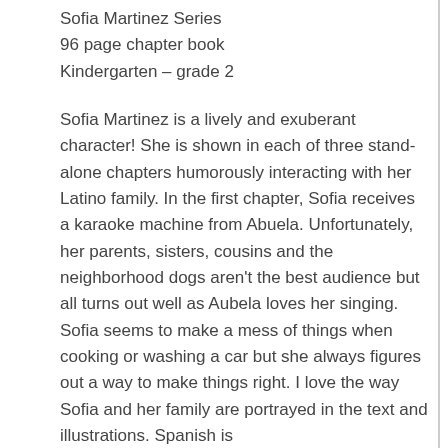Sofia Martinez Series
96 page chapter book
Kindergarten – grade 2
Sofia Martinez is a lively and exuberant character! She is shown in each of three stand-alone chapters humorously interacting with her Latino family. In the first chapter, Sofia receives a karaoke machine from Abuela. Unfortunately, her parents, sisters, cousins and the neighborhood dogs aren't the best audience but all turns out well as Aubela loves her singing. Sofia seems to make a mess of things when cooking or washing a car but she always figures out a way to make things right. I love the way Sofia and her family are portrayed in the text and illustrations. Spanish is